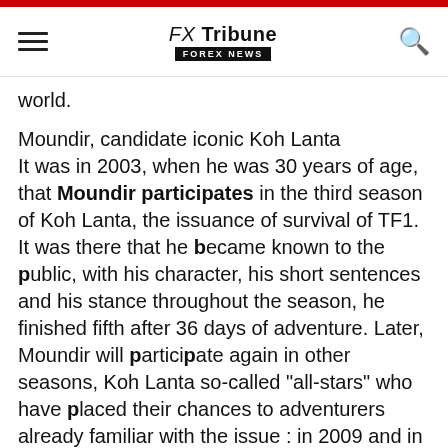FX Tribune FOREX NEWS
world.
Moundir, candidate iconic Koh Lanta
It was in 2003, when he was 30 years of age, that Moundir participates in the third season of Koh Lanta, the issuance of survival of TF1. It was there that he became known to the public, with his character, his short sentences and his stance throughout the season, he finished fifth after 36 days of adventure. Later, Moundir will participate again in other seasons, Koh Lanta so-called "all-stars" who have placed their chances to adventurers already familiar with the issue : in 2009 and in 2014. At the same time, he pursued a tv career, and thus appears that shows of the genre.
Moundir and the Apprentice Adventurers, its